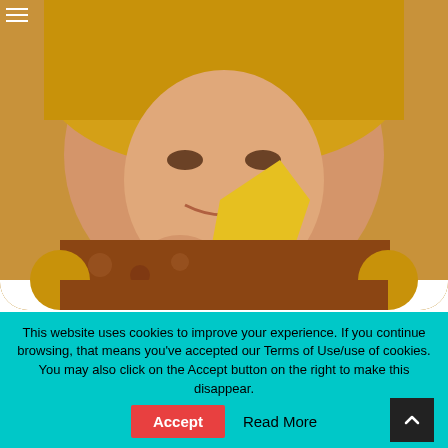[Figure (photo): Close-up photo of a smiling woman with blonde hair, holding something yellow (possibly a leaf or fabric), wearing a patterned top. Rounded bottom corners.]
Mainstream Group Choices: New York Film Critics Selects Crowd-Pleasing Hollywood Establishment Fare
[Figure (photo): Close-up photo of a person with a blue bob wig, dramatic eye makeup, looking directly at camera. Dark background with rounded corners.]
This website uses cookies to improve your experience. If you continue browsing, that means you've accepted our Terms of Use/use of cookies. You may also click on the Accept button on the right to make this disappear.